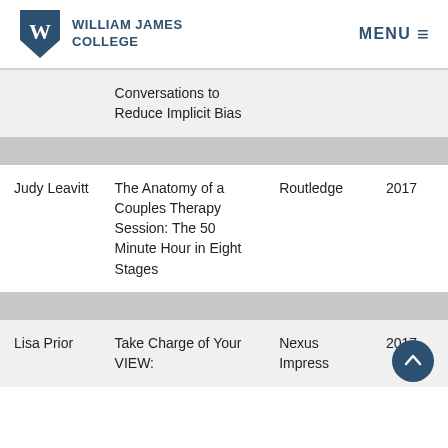William James College | MENU
| Author | Title | Publisher | Year |
| --- | --- | --- | --- |
|  | Conversations to Reduce Implicit Bias |  |  |
| Judy Leavitt | The Anatomy of a Couples Therapy Session: The 50 Minute Hour in Eight Stages | Routledge | 2017 |
| Lisa Prior | Take Charge of Your VIEW: | Nexus Impress | 2017 |